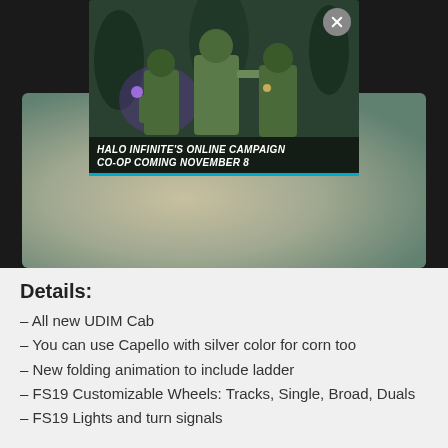[Figure (screenshot): Advertisement overlay showing Halo Infinite characters with text 'HALO INFINITE'S ONLINE CAMPAIGN CO-OP COMING NOVEMBER 8', displayed over a farming simulator cab interior image. A close (X) button is visible in the top right of the ad.]
Details:
– All new UDIM Cab
– You can use Capello with silver color for corn too
– New folding animation to include ladder
– FS19 Customizable Wheels: Tracks, Single, Broad, Duals
– FS19 Lights and turn signals